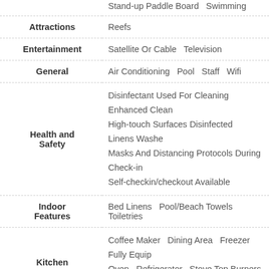| Category | Details |
| --- | --- |
|  | Stand-up Paddle Board   Swimming |
| Attractions | Reefs |
| Entertainment | Satellite Or Cable   Television |
| General | Air Conditioning   Pool   Staff   Wifi |
| Health and Safety | Disinfectant Used For Cleaning   Enhanced Clean   High-touch Surfaces Disinfected   Linens Washed   Masks And Distancing Protocols During Check-in   Self-checkin/checkout Available |
| Indoor Features | Bed Linens   Pool/Beach Towels   Toiletries |
| Kitchen | Coffee Maker   Dining Area   Freezer   Fully Equip   Oven   Refrigerator   Stove Top Burners   Toaste |
| Nearby |  |